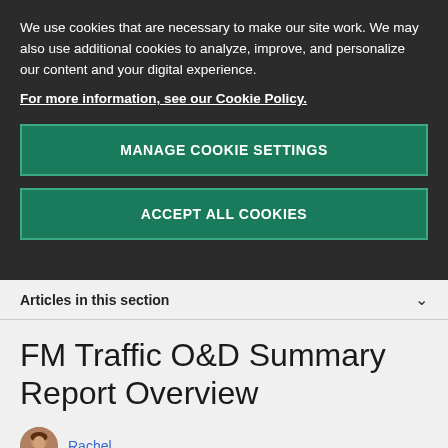We use cookies that are necessary to make our site work. We may also use additional cookies to analyze, improve, and personalize our content and your digital experience.
For more information, see our Cookie Policy.
MANAGE COOKIE SETTINGS
ACCEPT ALL COOKIES
Articles in this section
FM Traffic O&D Summary Report Overview
Rachel